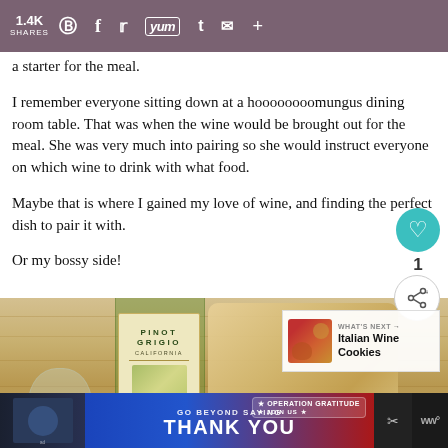1.4K SHARES — social sharing bar with Pinterest, Facebook, Twitter, Yum, Tumblr, Email, Plus icons
a starter for the meal.
I remember everyone sitting down at a hoooooooomungus dining room table. That was when the wine would be brought out for the meal. She was very much into pairing so she would instruct everyone on which wine to drink with what food.
Maybe that is where I gained my love of wine, and finding the perfect dish to pair it with.
Or my bossy side!
[Figure (photo): A bottle of Pinot Grigio California wine next to a wooden cutting board and a wine glass, on a light wooden surface. A 'What's Next' overlay shows Italian Wine Cookies.]
GO BEYOND SAYING THANK YOU — OPERATION GRATITUDE — JOIN US (advertisement banner)